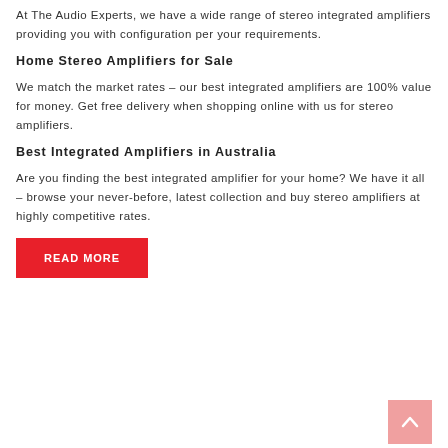At The Audio Experts, we have a wide range of stereo integrated amplifiers providing you with configuration per your requirements.
Home Stereo Amplifiers for Sale
We match the market rates – our best integrated amplifiers are 100% value for money. Get free delivery when shopping online with us for stereo amplifiers.
Best Integrated Amplifiers in Australia
Are you finding the best integrated amplifier for your home? We have it all – browse your never-before, latest collection and buy stereo amplifiers at highly competitive rates.
READ MORE